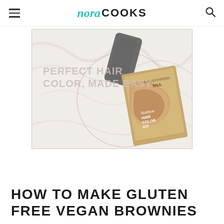nora COOKS
[Figure (photo): Advertisement for Madison Reed hair color kit showing hair coloring products on marble background with text 'PERFECT HAIR COLOR, MADE EASY' and a hair color kit package.]
HOW TO MAKE GLUTEN FREE VEGAN BROWNIES